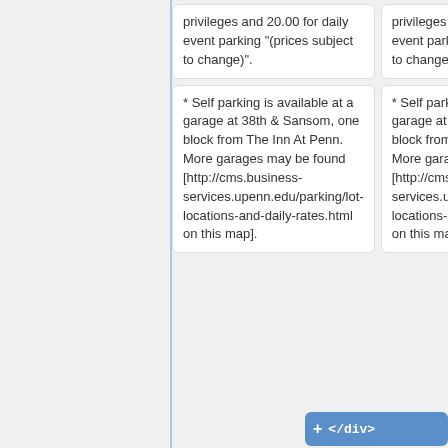privileges and 20.00 for daily event parking "(prices subject to change)".
privileges and 20.00 for daily event parking "(prices subject to change)".
* Self parking is available at a garage at 38th & Sansom, one block from The Inn At Penn. More garages may be found [http://cms.business-services.upenn.edu/parking/lot-locations-and-daily-rates.html on this map].
* Self parking is available at a garage at 38th & Sansom, one block from The Inn At Penn. More garages may be found [http://cms.business-services.upenn.edu/parking/lot-locations-and-daily-rates.html on this map].
</div>